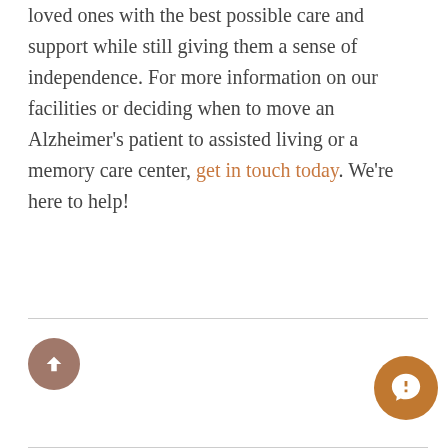loved ones with the best possible care and support while still giving them a sense of independence. For more information on our facilities or deciding when to move an Alzheimer's patient to assisted living or a memory care center, get in touch today. We're here to help!
[Figure (other): Social sharing buttons: Tweet (Twitter), Share (LinkedIn), Like 0 (Facebook), Share (Facebook). Scroll-to-top button and chat widget button.]